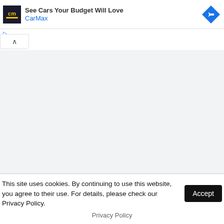[Figure (other): CarMax advertisement banner with logo, headline text 'See Cars Your Budget Will Love', CarMax brand name in blue, and a blue directional arrow icon]
[Figure (other): Gray empty content area below ad banner, with a small collapse/chevron button in top-left corner]
This site uses cookies. By continuing to use this website, you agree to their use. For details, please check our Privacy Policy.
Accept
Privacy Policy